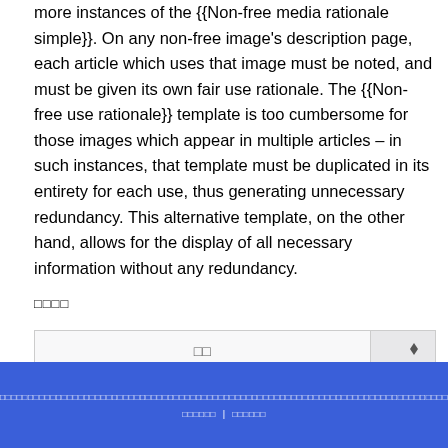template is designed to be used in conjunction with one or more instances of the {{Non-free media rationale simple}}. On any non-free image's description page, each article which uses that image must be noted, and must be given its own fair use rationale. The {{Non-free use rationale}} template is too cumbersome for those images which appear in multiple articles – in such instances, that template must be duplicated in its entirety for each use, thus generating unnecessary redundancy. This alternative template, on the other hand, allows for the display of all necessary information without any redundancy.
□□□□
| □□ |  |
| --- | --- |
□□□□□□□□□□□□□□□□□□□□□□□□□□□□□□□□□□□□□□□□□□□□□□□□□□□□□□□□□□□□□□□□□□□□□□□□□□□□□□□□□□□□□□□□□□□□□□□□□□□□□□□□□□□□□□□□□□□□□□□□□□□□□□□□□□□□□□□□□□□□□□□□□□□□□□□□□□□□□□□□□□□□□□□□□□□□□□□□□□□□□□□□□□□□□□□□□□□□□□□□□□□□□□□□□□□□□□□□□□□□□□□□□□□□□□□□□□□□□□□□□□□□□□□□□□□□□□□□□□□□□□□□□□□□□□□□□□□□□□□□□□□□□□□□□□□□□□□□□□□□□□□□□□□□□□□□□□□□□□□□□□□□□□□□□□□□□□□□□□□□□□□□□□□□□□□□□□□□□□□□□□□□□□□□□□□□□□□□□□□□□□□□□□□□□□□□□□□□□□□□□□□□□□□□□□□□□□□□□□□□□□□□□□□□□□□□□□□□□□□□□□□□□□